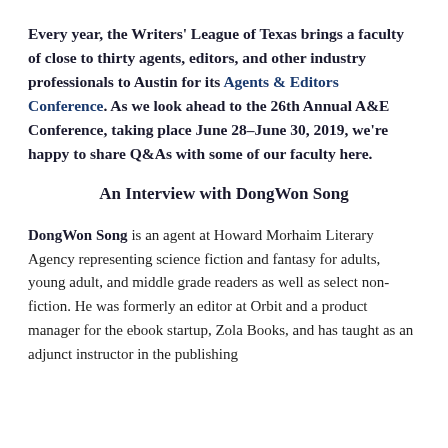Every year, the Writers' League of Texas brings a faculty of close to thirty agents, editors, and other industry professionals to Austin for its Agents & Editors Conference. As we look ahead to the 26th Annual A&E Conference, taking place June 28–June 30, 2019, we're happy to share Q&As with some of our faculty here.
An Interview with DongWon Song
DongWon Song is an agent at Howard Morhaim Literary Agency representing science fiction and fantasy for adults, young adult, and middle grade readers as well as select non-fiction. He was formerly an editor at Orbit and a product manager for the ebook startup, Zola Books, and has taught as an adjunct instructor in the publishing